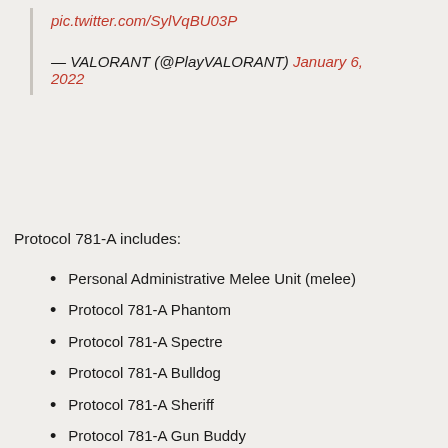pic.twitter.com/SylVqBU03P
— VALORANT (@PlayVALORANT) January 6, 2022
Protocol 781-A includes:
Personal Administrative Melee Unit (melee)
Protocol 781-A Phantom
Protocol 781-A Spectre
Protocol 781-A Bulldog
Protocol 781-A Sheriff
Protocol 781-A Gun Buddy
Protocol 781-A Card